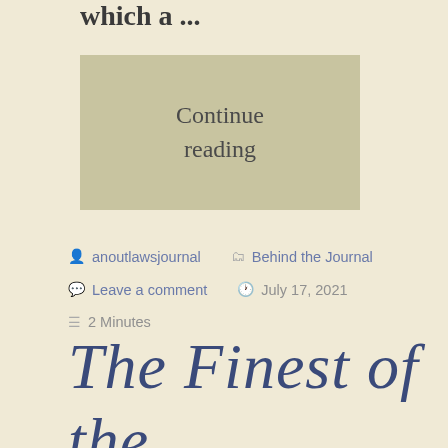which a ...
Continue reading
anoutlawsjournal   Behind the Journal   Leave a comment   July 17, 2021   2 Minutes
The Finest of the F…